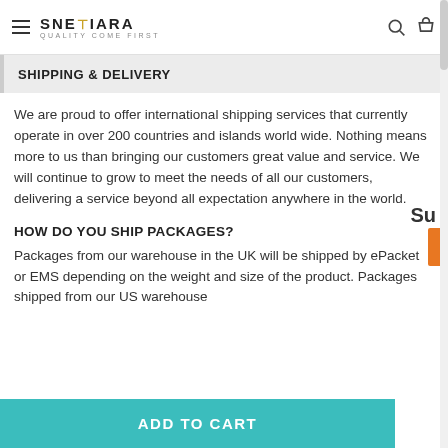SNETIARA QUALITY COME FIRST
SHIPPING & DELIVERY
We are proud to offer international shipping services that currently operate in over 200 countries and islands world wide. Nothing means more to us than bringing our customers great value and service. We will continue to grow to meet the needs of all our customers, delivering a service beyond all expectation anywhere in the world.
HOW DO YOU SHIP PACKAGES?
Packages from our warehouse in the UK will be shipped by ePacket or EMS depending on the weight and size of the product. Packages shipped from our US warehouse